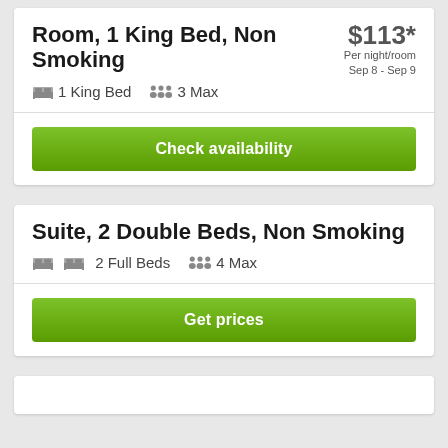Room, 1 King Bed, Non Smoking
$113* Per night/room Sep 8 - Sep 9
1 King Bed   3 Max
Check availability
Suite, 2 Double Beds, Non Smoking
2 Full Beds   4 Max
Get prices